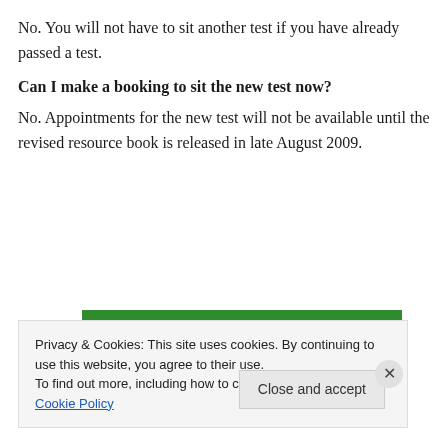No. You will not have to sit another test if you have already passed a test.
Can I make a booking to sit the new test now?
No. Appointments for the new test will not be available until the revised resource book is released in late August 2009.
[Figure (illustration): Green banner with white bold text reading 'button for your WordPress site']
Privacy & Cookies: This site uses cookies. By continuing to use this website, you agree to their use.
To find out more, including how to control cookies, see here: Cookie Policy
Close and accept